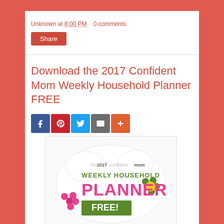Unknown at 8:00 PM   0 comments
Share
Download the 2017 Confident Mom Weekly Household Planner FREE
[Figure (infographic): Social share icons: Facebook (blue), Pinterest (red), Twitter (blue), Email (gray), More/Plus (orange)]
[Figure (photo): The 2017 Confident Mom Weekly Household Planner FREE promotional image with decorative flowers and cloud shape background]